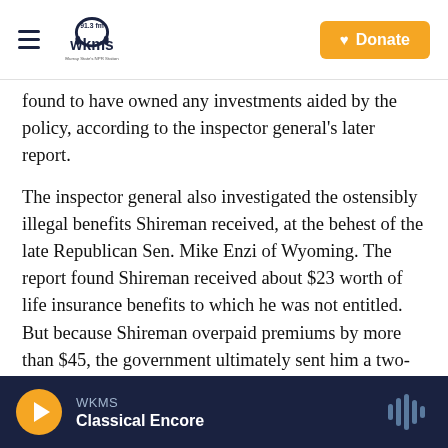WKMS 91.3 FM — Murray State's NPR Station | Donate
found to have owned any investments aided by the policy, according to the inspector general's later report.
The inspector general also investigated the ostensibly illegal benefits Shireman received, at the behest of the late Republican Sen. Mike Enzi of Wyoming. The report found Shireman received about $23 worth of life insurance benefits to which he was not entitled. But because Shireman overpaid premiums by more than $45, the government ultimately sent him a two-figure check covering the difference.
WKMS | Classical Encore